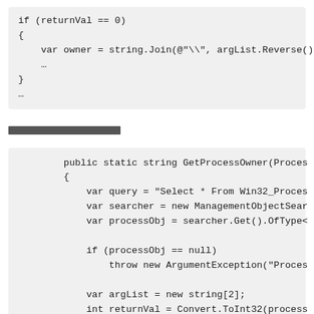[Figure (screenshot): Code block showing C# code snippet: if (returnVal == 0) { var owner = string.Join(@"\", argList.Reverse() … } …]
████████████████
[Figure (screenshot): Code block showing C# method: public static string GetProcessOwner(Proces { var query = "Select * From Win32_Proces var searcher = new ManagementObjectSear var processObj = searcher.Get().OfType< if (processObj == null) throw new ArgumentException("Proces var argList = new string[2]; int returnVal = Convert.ToInt32(process]